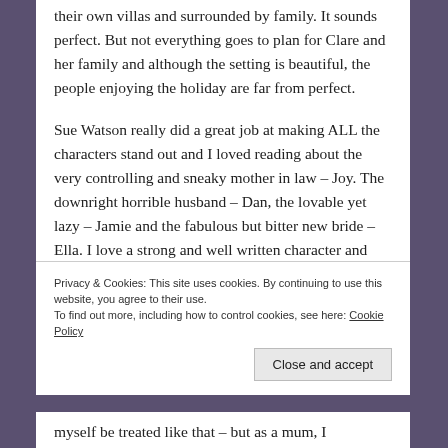their own villas and surrounded by family. It sounds perfect. But not everything goes to plan for Clare and her family and although the setting is beautiful, the people enjoying the holiday are far from perfect.

Sue Watson really did a great job at making ALL the characters stand out and I loved reading about the very controlling and sneaky mother in law – Joy. The downright horrible husband – Dan, the lovable yet lazy – Jamie and the fabulous but bitter new bride – Ella. I love a strong and well written character and Sue Watson did that with ease.
Privacy & Cookies: This site uses cookies. By continuing to use this website, you agree to their use.
To find out more, including how to control cookies, see here: Cookie Policy
myself be treated like that – but as a mum, I